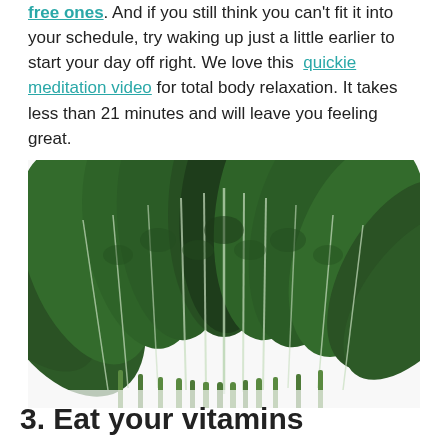free ones. And if you still think you can't fit it into your schedule, try waking up just a little earlier to start your day off right. We love this quickie meditation video for total body relaxation. It takes less than 21 minutes and will leave you feeling great.
[Figure (photo): A bunch of fresh dark green kale leaves fanned out against a white background, showing the curly textured leaves and pale green stems.]
3. Eat your vitamins